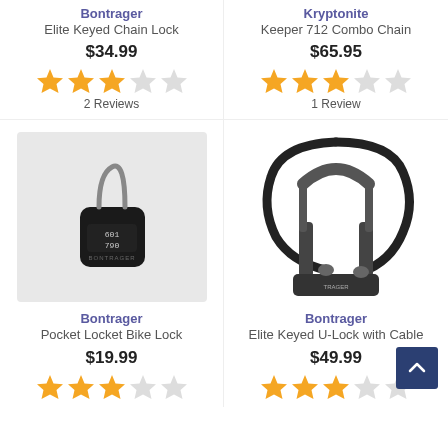Bontrager
Elite Keyed Chain Lock
$34.99
[Figure (other): 3 filled orange stars and 2 empty stars rating]
2 Reviews
Kryptonite
Keeper 712 Combo Chain
$65.95
[Figure (other): 3 filled orange stars and 2 empty stars rating]
1 Review
[Figure (photo): Bontrager Pocket Locket Bike Lock - small black combination padlock with cable on light gray background]
[Figure (photo): Bontrager Elite Keyed U-Lock with Cable - black U-lock with cable attached on white background]
Bontrager
Pocket Locket Bike Lock
$19.99
[Figure (other): Partial star rating row visible at bottom]
Bontrager
Elite Keyed U-Lock with Cable
$49.99
[Figure (other): Partial star rating row visible at bottom]